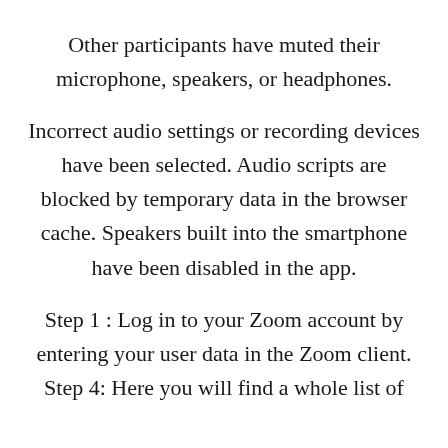Other participants have muted their microphone, speakers, or headphones.
Incorrect audio settings or recording devices have been selected. Audio scripts are blocked by temporary data in the browser cache. Speakers built into the smartphone have been disabled in the app.
Step 1 : Log in to your Zoom account by entering your user data in the Zoom client. Step 4: Here you will find a whole list of